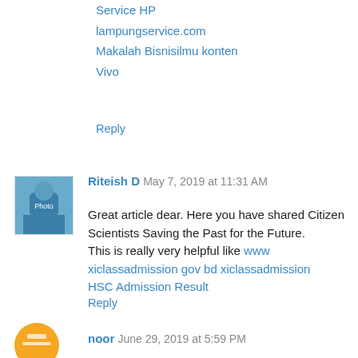Service HP
lampungservice.com
Makalah Bisnisilmu konten
Vivo
Reply
Riteish D  May 7, 2019 at 11:31 AM
Great article dear. Here you have shared Citizen Scientists Saving the Past for the Future.
This is really very helpful like www xiclassadmission gov bd xiclassadmission
HSC Admission Result
Reply
noor  June 29, 2019 at 5:59 PM